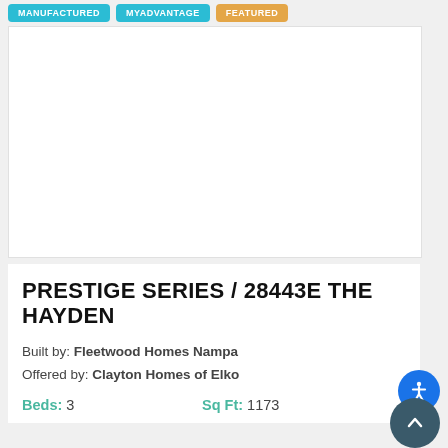MANUFACTURED  MYADVANTAGE  FEATURED
[Figure (photo): White/blank image placeholder area for a manufactured home listing photo]
PRESTIGE SERIES / 28443E THE HAYDEN
Built by: Fleetwood Homes Nampa
Offered by: Clayton Homes of Elko
Beds: 3    Sq Ft: 1173